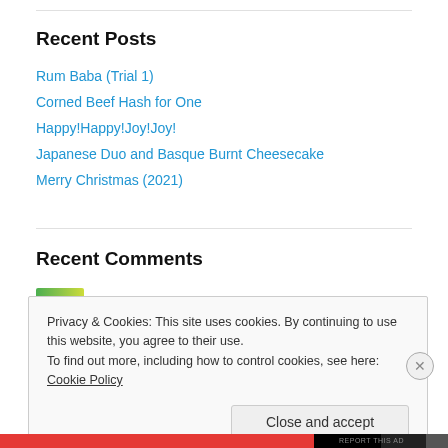Recent Posts
Rum Baba (Trial 1)
Corned Beef Hash for One
Happy!Happy!Joy!Joy!
Japanese Duo and Basque Burnt Cheesecake
Merry Christmas (2021)
Recent Comments
Privacy & Cookies: This site uses cookies. By continuing to use this website, you agree to their use.
To find out more, including how to control cookies, see here: Cookie Policy
Close and accept